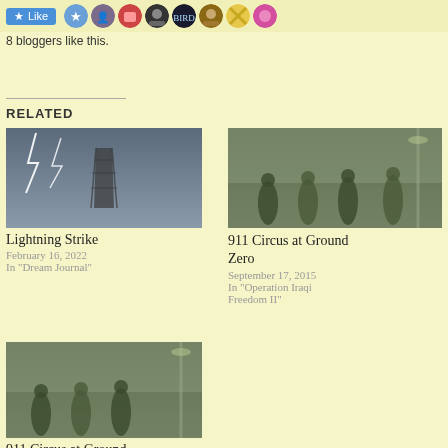8 bloggers like this.
RELATED
[Figure (photo): Lightning strike behind an electrical transmission tower against a stormy sky]
Lightning Strike
February 16, 2022
In "Dream Journal"
[Figure (photo): Soldiers in military gear standing outdoors in a green-tinted scene]
911 Circus at Ground Zero
September 17, 2015
In "Operation Iraqi Freedom II"
[Figure (photo): Soldiers in military gear standing outdoors, green-tinted, similar to above]
911 Circus at Ground